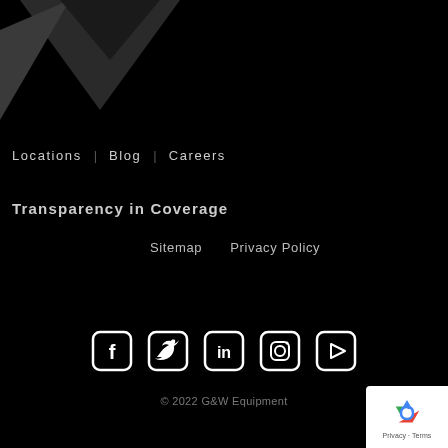[Figure (illustration): Abstract geometric dark grey triangular shapes in top-left corner on black background]
Locations   Blog   Careers
Transparency in Coverage
Sitemap   Privacy Policy
[Figure (infographic): Row of social media icons: Facebook, Twitter, LinkedIn, Instagram, YouTube — white icons on black background]
© 2022 G&W Equipment
[Figure (logo): Google reCAPTCHA badge showing recycling-arrow logo with Privacy and Terms text]